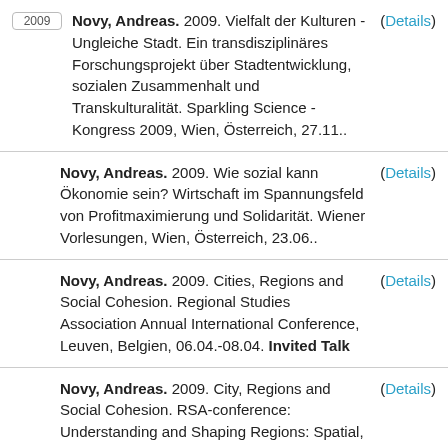Novy, Andreas. 2009. Vielfalt der Kulturen - Ungleiche Stadt. Ein transdisziplinäres Forschungsprojekt über Stadtentwicklung, sozialen Zusammenhalt und Transkulturalität. Sparkling Science - Kongress 2009, Wien, Österreich, 27.11.. (Details)
Novy, Andreas. 2009. Wie sozial kann Ökonomie sein? Wirtschaft im Spannungsfeld von Profitmaximierung und Solidarität. Wiener Vorlesungen, Wien, Österreich, 23.06.. (Details)
Novy, Andreas. 2009. Cities, Regions and Social Cohesion. Regional Studies Association Annual International Conference, Leuven, Belgien, 06.04.-08.04. Invited Talk (Details)
Novy, Andreas. 2009. City, Regions and Social Cohesion. RSA-conference: Understanding and Shaping Regions: Spatial, Social and Economic Futures, (Details)